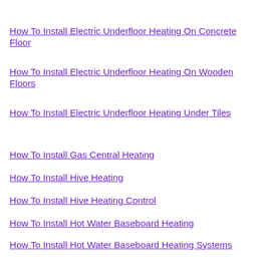How To Install Electric Underfloor Heating On Concrete
How To Install Electric Underfloor Heating On Concrete Floor
How To Install Electric Underfloor Heating On Wooden Floors
How To Install Electric Underfloor Heating Under Tiles
How To Install Gas Central Heating
How To Install Hive Heating
How To Install Hive Heating Control
How To Install Hot Water Baseboard Heating
How To Install Hot Water Baseboard Heating Systems